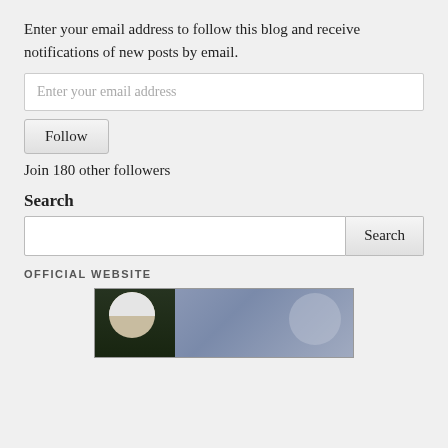Enter your email address to follow this blog and receive notifications of new posts by email.
[Figure (screenshot): Email input field with placeholder text 'Enter your email address']
[Figure (screenshot): Follow button]
Join 180 other followers
Search
[Figure (screenshot): Search input field with Search button]
OFFICIAL WEBSITE
[Figure (photo): Photo of a person with white/blonde hair against a blue-grey background with a moon shape]